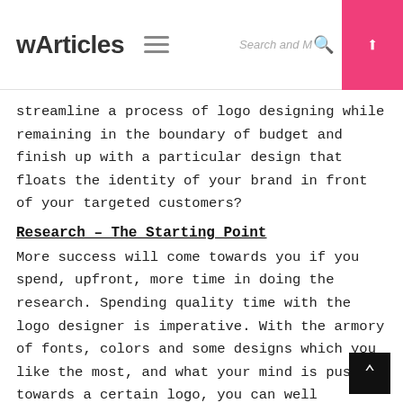wArticles [menu icon] [Search and more] [search icon] [upload button]
streamline a process of logo designing while remaining in the boundary of budget and finish up with a particular design that floats the identity of your brand in front of your targeted customers?
Research – The Starting Point
More success will come towards you if you spend, upfront, more time in doing the research. Spending quality time with the logo designer is imperative. With the armory of fonts, colors and some designs which you like the most, and what your mind is pushing towards a certain logo, you can well organize the logo designing process and reduce down the number of revisions, and can also